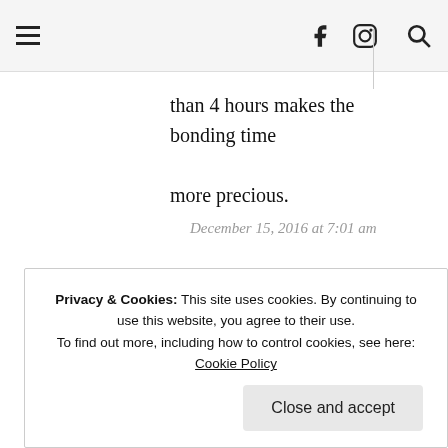☰  f  🄸  🔍
than 4 hours makes the bonding time more precious.
December 15, 2016 at 7:01 am
LEAVE A REPLY TO AMELIA YEO CANCEL REPLY
Privacy & Cookies: This site uses cookies. By continuing to use this website, you agree to their use. To find out more, including how to control cookies, see here: Cookie Policy
Close and accept